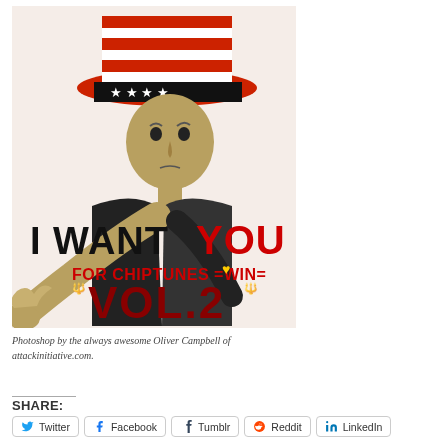[Figure (illustration): Parody image styled like the 'Uncle Sam I Want You' poster. A man with an oversized head wearing a red and white striped Uncle Sam top hat with a black star band points directly at the viewer. Text overlay reads 'I WANT YOU' in large black and red letters, 'FOR CHIPTUNES =WIN=' in red, and 'VOL.2' in dark red/maroon large letters at the bottom. Background is pale pinkish-white.]
Photoshop by the always awesome Oliver Campbell of attackinitiative.com.
SHARE: